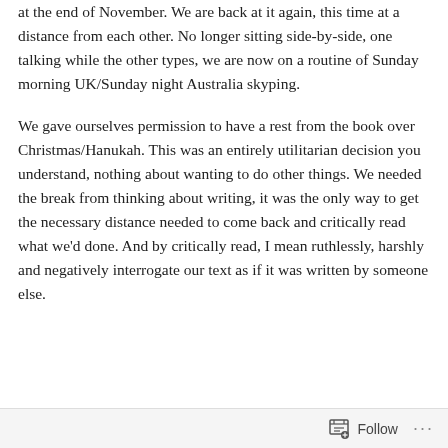at the end of November. We are back at it again, this time at a distance from each other. No longer sitting side-by-side, one talking while the other types, we are now on a routine of Sunday morning UK/Sunday night Australia skyping.
We gave ourselves permission to have a rest from the book over Christmas/Hanukah. This was an entirely utilitarian decision you understand, nothing about wanting to do other things. We needed the break from thinking about writing, it was the only way to get the necessary distance needed to come back and critically read what we'd done. And by critically read, I mean ruthlessly, harshly and negatively interrogate our text as if it was written by someone else.
Follow